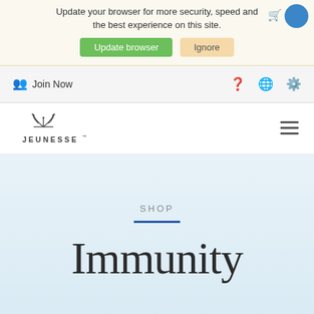Update your browser for more security, speed and the best experience on this site.
Update browser | Ignore
Join Now
[Figure (logo): Jeunesse brand logo with stylized plant/crown icon above the text JEUNESSE]
SHOP
Immunity